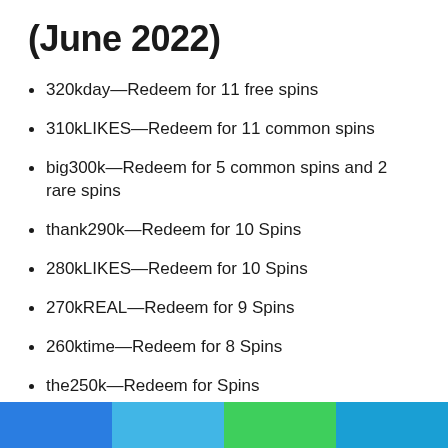(June 2022)
320kday—Redeem for 11 free spins
310kLIKES—Redeem for 11 common spins
big300k—Redeem for 5 common spins and 2 rare spins
thank290k—Redeem for 10 Spins
280kLIKES—Redeem for 10 Spins
270kREAL—Redeem for 9 Spins
260ktime—Redeem for 8 Spins
the250k—Redeem for Spins
240kCODE—Redeem for 7 Spins
230kcode!—Redeem code for 5 spins
thank220k—Redeem for 5 Free Spins